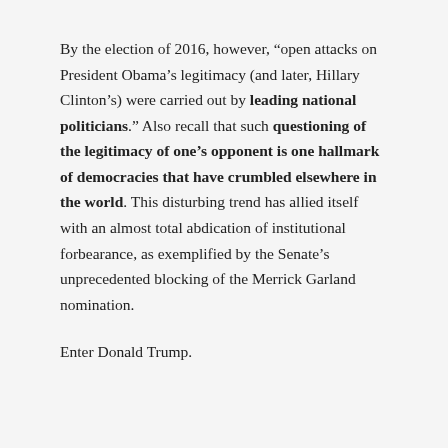By the election of 2016, however, “open attacks on President Obama’s legitimacy (and later, Hillary Clinton’s) were carried out by leading national politicians.” Also recall that such questioning of the legitimacy of one’s opponent is one hallmark of democracies that have crumbled elsewhere in the world. This disturbing trend has allied itself with an almost total abdication of institutional forbearance, as exemplified by the Senate’s unprecedented blocking of the Merrick Garland nomination.
Enter Donald Trump.